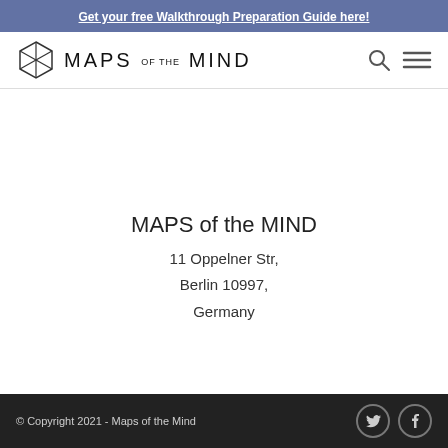Get your free Walkthrough Preparation Guide here!
[Figure (logo): Maps of the Mind logo with geometric cube icon and stylized text]
MAPS of the MIND
11 Oppelner Str,
Berlin 10997,
Germany
© Copyright 2021 - Maps of the Mind